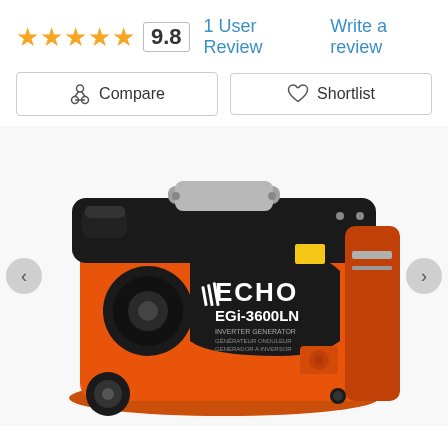★★★★★ 9.8   1 User Review   Write a review
Compare   Shortlist
[Figure (photo): ECHO EGi-3600LN inverter generator in orange and black color, shown at an angle with carry handle on top and wheels at bottom. Brand logo and model number visible on the front panel.]